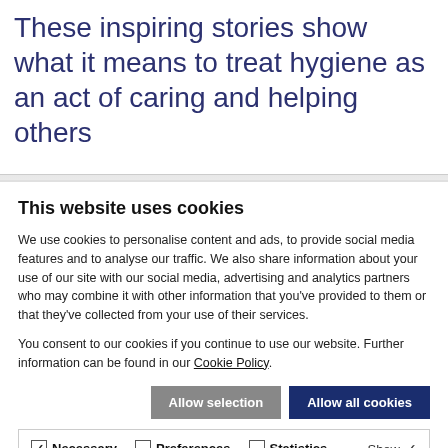These inspiring stories show what it means to treat hygiene as an act of caring and helping others
Keep your Hands clean
This website uses cookies
We use cookies to personalise content and ads, to provide social media features and to analyse our traffic. We also share information about your use of our site with our social media, advertising and analytics partners who may combine it with other information that you've provided to them or that they've collected from your use of their services.
You consent to our cookies if you continue to use our website. Further information can be found in our Cookie Policy.
Allow selection | Allow all cookies
Necessary | Preferences | Statistics | Marketing | Show details